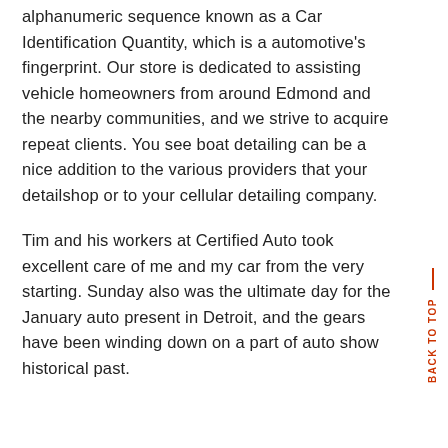alphanumeric sequence known as a Car Identification Quantity, which is a automotive's fingerprint. Our store is dedicated to assisting vehicle homeowners from around Edmond and the nearby communities, and we strive to acquire repeat clients. You see boat detailing can be a nice addition to the various providers that your detailshop or to your cellular detailing company.
Tim and his workers at Certified Auto took excellent care of me and my car from the very starting. Sunday also was the ultimate day for the January auto present in Detroit, and the gears have been winding down on a part of auto show historical past.